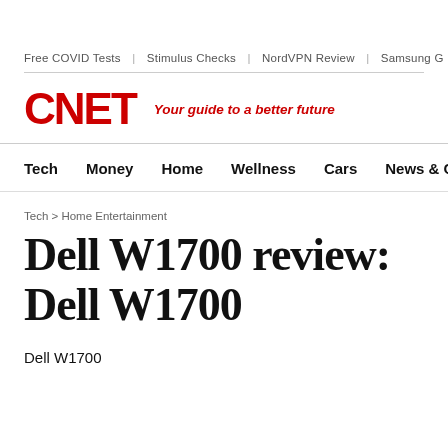Free COVID Tests  |  Stimulus Checks  |  NordVPN Review  |  Samsung G
[Figure (logo): CNET logo in red bold text followed by tagline 'Your guide to a better future' in red italic]
Tech  Money  Home  Wellness  Cars  News & Culture
Tech > Home Entertainment
Dell W1700 review: Dell W1700
Dell W1700